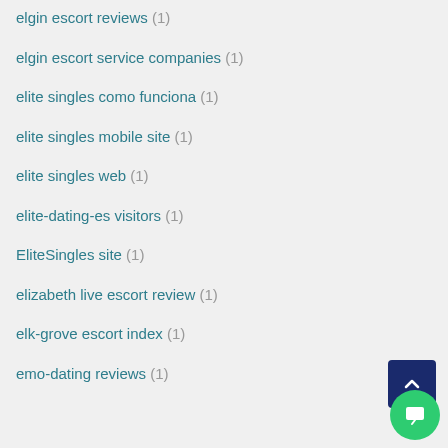elgin escort reviews (1)
elgin escort service companies (1)
elite singles como funciona (1)
elite singles mobile site (1)
elite singles web (1)
elite-dating-es visitors (1)
EliteSingles site (1)
elizabeth live escort review (1)
elk-grove escort index (1)
emo-dating reviews (1)